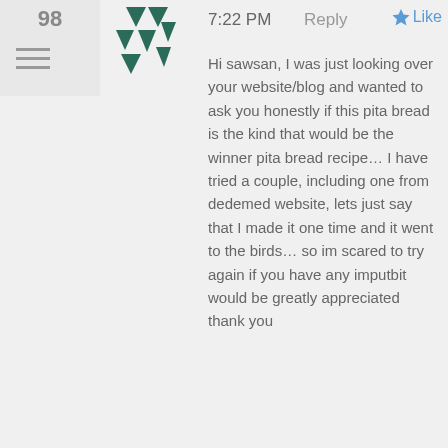98
7:22 PM   Reply   ★ Like
Hi sawsan, I was just looking over your website/blog and wanted to ask you honestly if this pita bread is the kind that would be the winner pita bread recipe... I have tried a couple, including one from dedemed website, lets just say that I made it one time and it went to the birds... so im scared to try again if you have any imputbit would be greatly appreciated thank you
99
Sawsan@ Chef in disguise on August 6, 2013 at 9:29 PM
Advertisements
[Figure (infographic): Advertisement banner: STAY WHERE IT ALL STARTED - Golden Gate hotel with Book Now button]